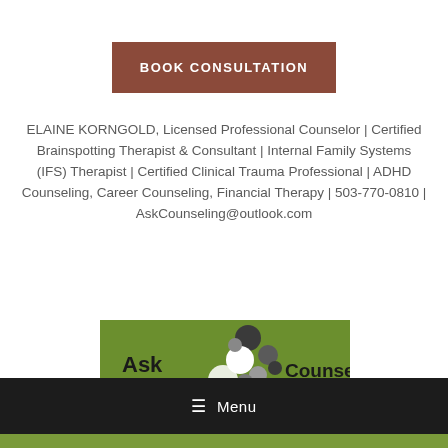BOOK CONSULTATION
ELAINE KORNGOLD, Licensed Professional Counselor | Certified Brainspotting Therapist & Consultant | Internal Family Systems (IFS) Therapist | Certified Clinical Trauma Professional | ADHD Counseling, Career Counseling, Financial Therapy | 503-770-0810 | AskCounseling@outlook.com
[Figure (logo): Ask Counseling logo on green background with decorative dot pattern]
≡ Menu